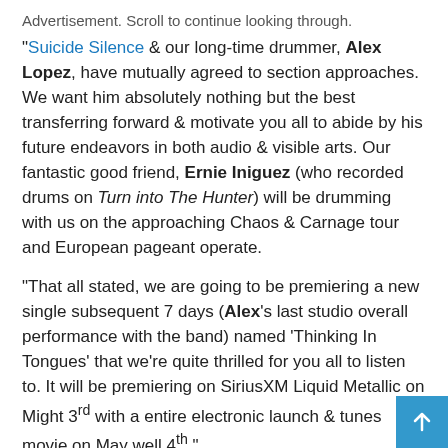Advertisement. Scroll to continue looking through.
"Suicide Silence & our long-time drummer, Alex Lopez, have mutually agreed to section approaches. We want him absolutely nothing but the best transferring forward & motivate you all to abide by his future endeavors in both audio & visible arts. Our fantastic good friend, Ernie Iniguez (who recorded drums on Turn into The Hunter) will be drumming with us on the approaching Chaos & Carnage tour and European pageant operate.
"That all stated, we are going to be premiering a new single subsequent 7 days (Alex's last studio overall performance with the band) named 'Thinking In Tongues' that we're quite thrilled for you all to listen to. It will be premiering on SiriusXM Liquid Metallic on Might 3rd with a entire electronic launch & tunes movie on May well 4th."
Suicide Silence and Carnifex will crew up this Spring for their Chaos & Carnage Tour. The tour will also feature Lorna Shore,